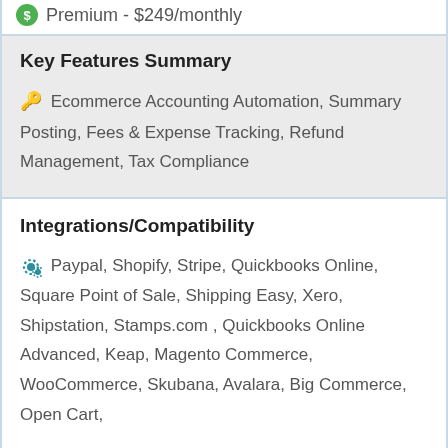Premium - $249/monthly
Key Features Summary
Ecommerce Accounting Automation, Summary Posting, Fees & Expense Tracking, Refund Management, Tax Compliance
Integrations/Compatibility
Paypal, Shopify, Stripe, Quickbooks Online, Square Point of Sale, Shipping Easy, Xero, Shipstation, Stamps.com , Quickbooks Online Advanced, Keap, Magento Commerce, WooCommerce, Skubana, Avalara, Big Commerce, Open Cart,